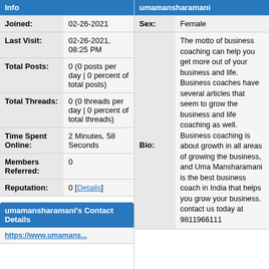Info
| Field | Value |
| --- | --- |
| Joined: | 02-26-2021 |
| Last Visit: | 02-26-2021, 08:25 PM |
| Total Posts: | 0 (0 posts per day | 0 percent of total posts) |
| Total Threads: | 0 (0 threads per day | 0 percent of total threads) |
| Time Spent Online: | 2 Minutes, 58 Seconds |
| Members Referred: | 0 |
| Reputation: | 0 [Details] |
umamansharamani's Contact Details
https://www.umamans...
umamansharamani
| Field | Value |
| --- | --- |
| Sex: | Female |
| Bio: | The motto of business coaching can help you get more out of your business and life. Business coaches have several articles that seem to grow the business and life coaching as well. Business coaching is about growth in all areas of growing the business, and Uma Mansharamani is the best business coach in India that helps you grow your business. contact us today at 9811966111 |